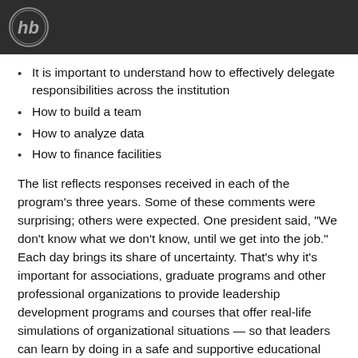It is important to understand how to effectively delegate responsibilities across the institution
How to build a team
How to analyze data
How to finance facilities
The list reflects responses received in each of the program’s three years. Some of these comments were surprising; others were expected. One president said, “We don’t know what we don’t know, until we get into the job.” Each day brings its share of uncertainty. That’s why it’s important for associations, graduate programs and other professional organizations to provide leadership development programs and courses that offer real-life simulations of organizational situations — so that leaders can learn by doing in a safe and supportive educational environment.
Everyone doesn’t know everything. Acknowledging competency deficits allows those of us in the business of